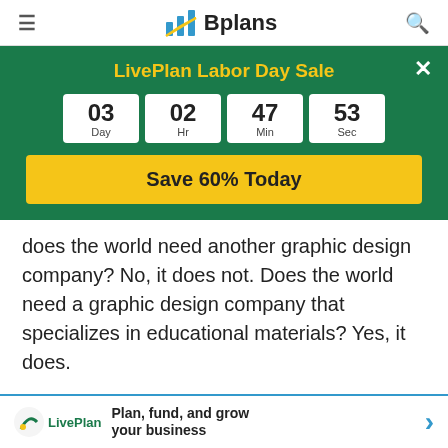≡  Bplans  🔍
[Figure (infographic): LivePlan Labor Day Sale countdown banner with timer showing 03 Day, 02 Hr, 47 Min, 53 Sec and a Save 60% Today button]
does the world need another graphic design company? No, it does not. Does the world need a graphic design company that specializes in educational materials? Yes, it does.
The last reason why small businesses fail is because people lack fiscal discipline. You should not spend a dollar t[...]re that by the[...]
[Figure (logo): LivePlan bottom bar - Plan, fund, and grow your business]